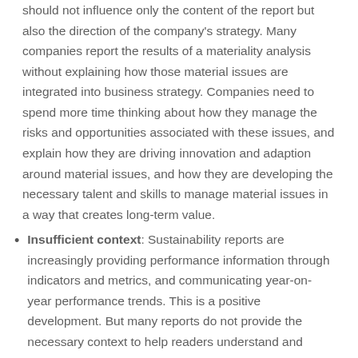should not influence only the content of the report but also the direction of the company's strategy. Many companies report the results of a materiality analysis without explaining how those material issues are integrated into business strategy. Companies need to spend more time thinking about how they manage the risks and opportunities associated with these issues, and explain how they are driving innovation and adaption around material issues, and how they are developing the necessary talent and skills to manage material issues in a way that creates long-term value.
Insufficient context: Sustainability reports are increasingly providing performance information through indicators and metrics, and communicating year-on-year performance trends. This is a positive development. But many reports do not provide the necessary context to help readers understand and